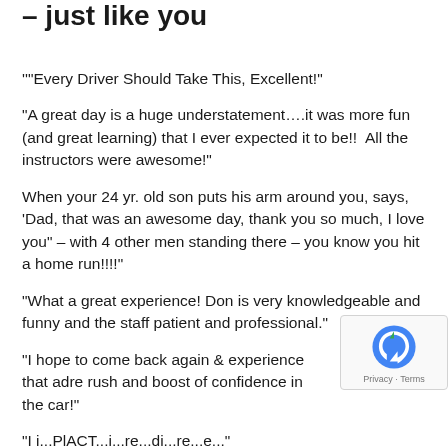– just like you
""Every Driver Should Take This, Excellent!"
"A great day is a huge understatement….it was more fun (and great learning) that I ever expected it to be!!  All the instructors were awesome!"
When your 24 yr. old son puts his arm around you, says, 'Dad, that was an awesome day, thank you so much, I love you" – with 4 other men standing there – you know you hit a home run!!!!"
"What a great experience! Don is very knowledgeable and funny and the staff patient and professional."
"I hope to come back again & experience that adre rush and boost of confidence in the car!"
"Hi...rePlACE...l...re...di...re...er..."